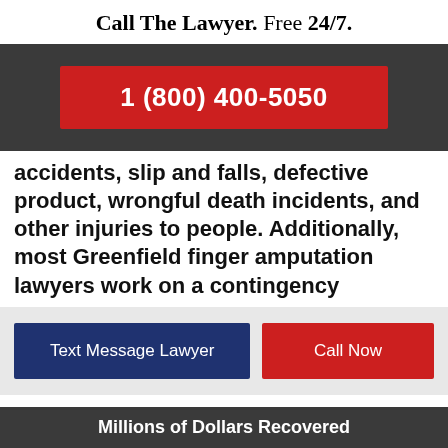Call The Lawyer. Free 24/7.
[Figure (other): Dark gray banner with red phone number button showing 1 (800) 400-5050]
accidents, slip and falls, defective product, wrongful death incidents, and other injuries to people. Additionally, most Greenfield finger amputation lawyers work on a contingency
Text Message Lawyer | Call Now
Millions of Dollars Recovered